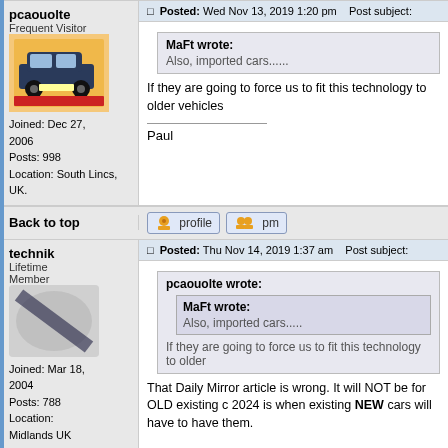pcaouolte - Frequent Visitor
Joined: Dec 27, 2006
Posts: 998
Location: South Lincs, UK.
Posted: Wed Nov 13, 2019 1:20 pm   Post subject:
MaFt wrote: Also, imported cars......
If they are going to force us to fit this technology to older vehicles
Paul
Back to top
technik - Lifetime Member
Joined: Mar 18, 2004
Posts: 788
Location: Midlands UK
Posted: Thu Nov 14, 2019 1:37 am   Post subject:
pcaouolte wrote: MaFt wrote: Also, imported cars..... If they are going to force us to fit this technology to older
That Daily Mirror article is wrong. It will NOT be for OLD existing c 2024 is when existing NEW cars will have to have them.